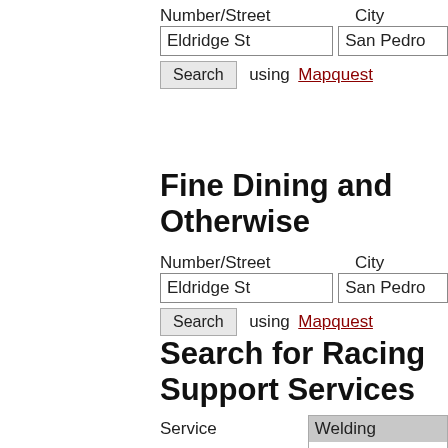Number/Street
City
Eldridge St
San Pedro
Search using Mapquest
Fine Dining and Otherwise
Number/Street
City
Eldridge St
San Pedro
Search using Mapquest
Search for Racing Support Services
Service
Welding
Fabrication
Automobile Parts
Number/Street
City
Eldridge St
San Pedro